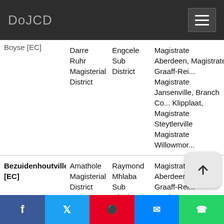DoJCD
| Name | Magisterial District | Sub District | Courts |
| --- | --- | --- | --- |
| Boyse [EC] | Darre Ruhr Magisterial District | Engcele Sub District | Magistrate Aberdeen, Magistrate Graaff-Rei..., Magistrate Jansenville, Branch Co..., Klipplaat, Magistrate Steytlerville, Magistrate Willowmor... |
| Bezuidenhoutville [EC] | Amathole Magisterial District | Raymond Mhlaba Sub District | Magistrate Aberdeen, Magistrate Graaff-Rei..., Magistrate Jansenville... |
f  t  pinterest  messenger  whatsapp